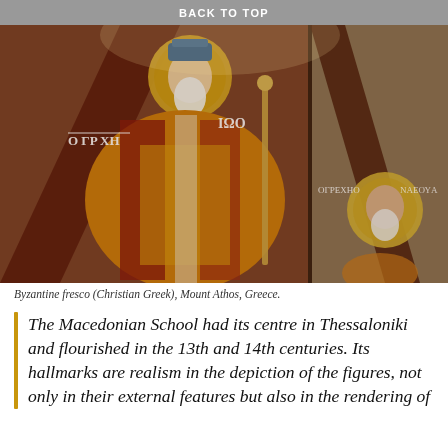BACK TO TOP
[Figure (photo): Byzantine fresco showing religious figures with halos and ornate robes, Greek inscriptions visible, Mount Athos, Greece.]
Byzantine fresco (Christian Greek), Mount Athos, Greece.
The Macedonian School had its centre in Thessaloniki and flourished in the 13th and 14th centuries. Its hallmarks are realism in the depiction of the figures, not only in their external features but also in the rendering of